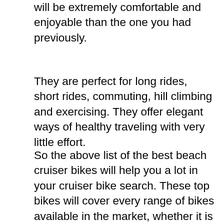will be extremely comfortable and enjoyable than the one you had previously.
They are perfect for long rides, short rides, commuting, hill climbing and exercising. They offer elegant ways of healthy traveling with very little effort.
So the above list of the best beach cruiser bikes will help you a lot in your cruiser bike search. These top bikes will cover every range of bikes available in the market, whether it is for men or women.
Another great thing about these bikes is that they are within the affordable price range. Once you start riding these bikes your level of confidence will automatically increase and